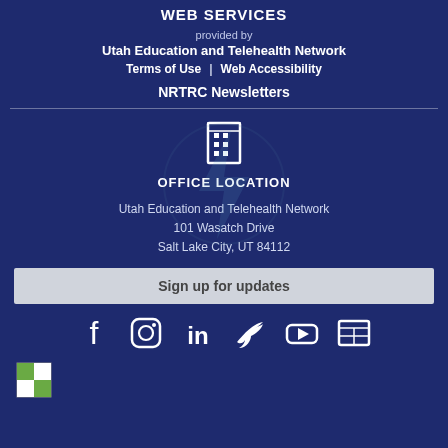WEB SERVICES
provided by
Utah Education and Telehealth Network
Terms of Use  |  Web Accessibility
NRTRC Newsletters
OFFICE LOCATION
Utah Education and Telehealth Network
101 Wasatch Drive
Salt Lake City, UT 84112
Sign up for updates
[Figure (illustration): Social media icons: Facebook, Instagram, LinkedIn, Twitter, YouTube, Newsletter]
[Figure (logo): Small logo at bottom left]